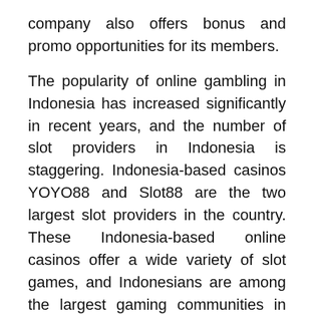company also offers bonus and promo opportunities for its members.
The popularity of online gambling in Indonesia has increased significantly in recent years, and the number of slot providers in Indonesia is staggering. Indonesia-based casinos YOYO88 and Slot88 are the two largest slot providers in the country. These Indonesia-based online casinos offer a wide variety of slot games, and Indonesians are among the largest gaming communities in the world. This is expected to continue growing in popularity for years to come. The benefits of online gambling for Indonesians are many.
Aside from being convenient, online casinos also offer several bonus options. Depending on your budget, you might choose to choose a casino with a bonus. A good choice is Pragmatic123, which has more than